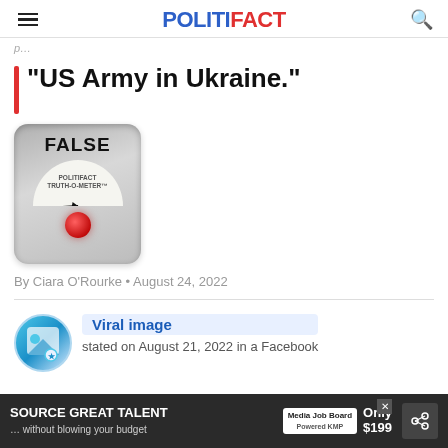POLITIFACT
p...
“US Army in Ukraine.”
[Figure (illustration): PolitiFact Truth-O-Meter gauge showing FALSE rating with red indicator dot at far left]
By Ciara O’Rourke • August 24, 2022
Viral image
stated on August 21, 2022 in a Facebook